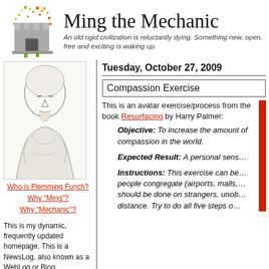[Figure (logo): Ming the Mechanic blog logo: castle/fortress icon with colorful pixel splatter around it]
Ming the Mechanic
An old rigid civilization is reluctantly dying. Something new, open, free and exciting is waking up.
[Figure (illustration): Pencil sketch portrait of a bald man (Flemming Funch)]
Who is Flemming Funch?
Why "Ming"?
Why "Mechanic"?
This is my dynamic, frequently updated homepage. This is a NewsLog, also known as a WebLog or Blog.
Tuesday, October 27, 2009
Compassion Exercise
This is an avatar exercise/process from the book Resurfacing by Harry Palmer:
Objective: To increase the amount of compassion in the world.
Expected Result: A personal sens…
Instructions: This exercise can be… people congregate (airports, malls,… should be done on strangers, unob… distance. Try to do all five steps o…